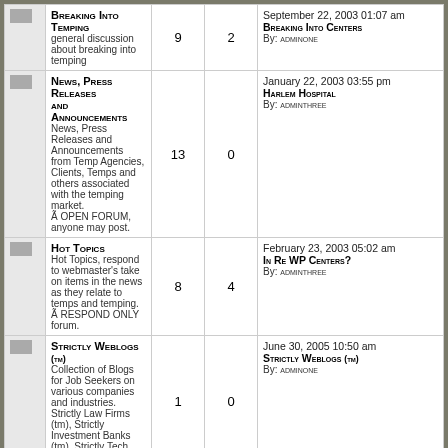|  |  | Topics | Replies | Last Post Info |
| --- | --- | --- | --- | --- |
| [icon] | Breaking Into Temping
general discussion about breaking into temping | 9 | 2 | September 22, 2003 01:07 am
Breaking Into Centers
By: adminone |
| [icon] | News, Press Releases and Announcements
News, Press Releases and Announcements from Temp Agencies, Clients, Temps and others associated with the temping market.
Ã OPEN FORUM, anyone may post. | 13 | 0 | January 22, 2003 03:55 pm
Harlem Hospital
By: adminthree |
| [icon] | Hot Topics
Hot Topics, respond to webmaster's take on items in the news as they relate to temps and temping.
Ã RESPOND ONLY forum. | 8 | 4 | February 23, 2003 05:02 am
In Re WP Centers?
By: adminthree |
| [icon] | Strictly Weblogs (tm)
Collection of Blogs for Job Seekers on various companies and industries. Strictly Law Firms (tm), Strictly Investment Banks (tm), Strictly Tech (tm) etc. | 1 | 0 | June 30, 2005 10:50 am
Strictly Weblogs (tm)
By: adminone |
|  | Major NYC Employers | Topics | Replies | Last Post Info |
| --- | --- | --- | --- | --- |
| [icon] | NYC Law Firms
Law Firms in NYC | 333 | 0 | January 01, 2003 12:51 pm
Top NYC Law Firms
By: adminthree |
| [icon] | Top Financial Services Firms
Investment Banking and Brokerage | 233 | 1 | January 01, 2003 07:41 am
Ziegler Companies, Inc.
By: adminthree |